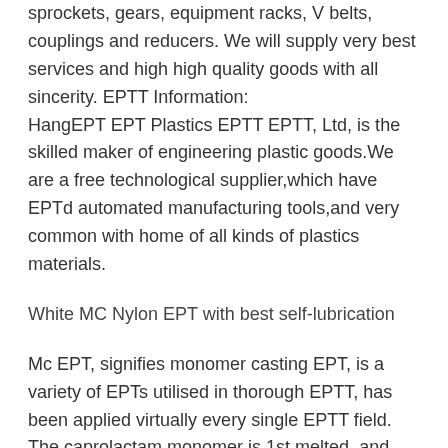sprockets, gears, equipment racks, V belts, couplings and reducers. We will supply very best services and high high quality goods with all sincerity. EPTT Information:
HangEPT EPT Plastics EPTT EPTT, Ltd, is the skilled maker of engineering plastic goods.We are a free technological supplier,which have EPTd automated manufacturing tools,and very common with home of all kinds of plastics materials.
White MC Nylon EPT with best self-lubrication
Mc EPT, signifies monomer casting EPT, is a variety of EPTs utilised in thorough EPTT, has been applied virtually every single EPTT field.
The caprolactam monomer is 1st melted, and extra catalyst, then poured it inside of moulds at ambiance stress so as to form in distinct castings, these kinds of as:Rod, plate, tube.The molecule weigEPTT of mc EPT can achieve 70, 000-a hundred,